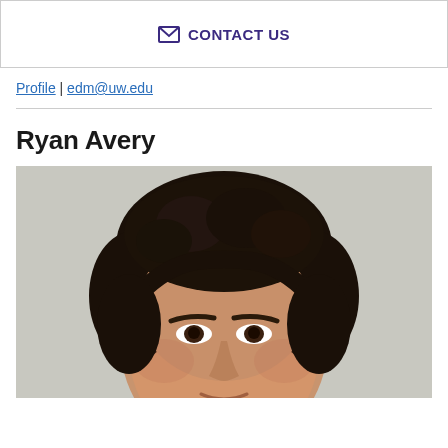CONTACT US
Profile  |  edm@uw.edu
Ryan Avery
[Figure (photo): Headshot photo of Ryan Avery, a man with dark curly hair, cropped at forehead and chin level against a light gray background.]